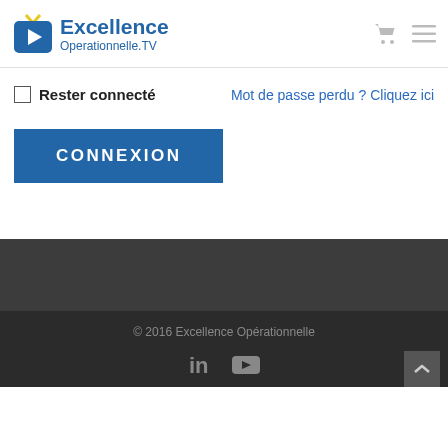[Figure (logo): Excellence Operationnelle.TV logo with blue play button icon and yellow chevron]
Rester connecté
Mot de passe perdu ? Cliquez ici
CONNEXION
© 2016 Excellence Opérationnelle